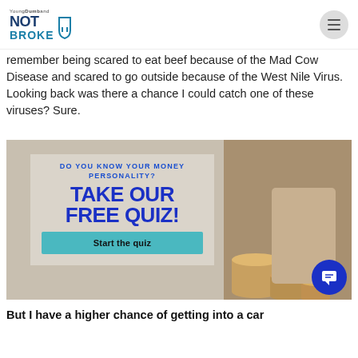Young Dumb and NOT BROKE
remember being scared to eat beef because of the Mad Cow Disease and scared to go outside because of the West Nile Virus. Looking back was there a chance I could catch one of these viruses? Sure.
[Figure (infographic): Advertisement banner: 'DO YOU KNOW YOUR MONEY PERSONALITY? TAKE OUR FREE QUIZ! Start the quiz' with coins image in background]
But I have a higher chance of getting into a car